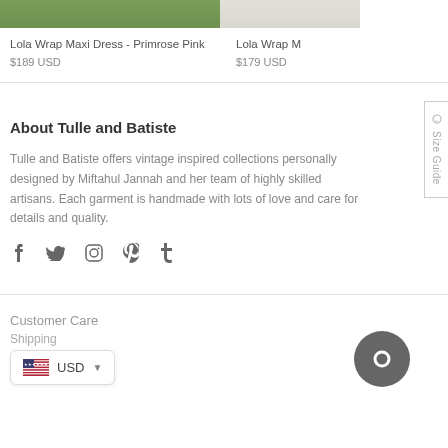Lola Wrap Maxi Dress - Primrose Pink
$189 USD
Lola Wrap M
$179 USD
About Tulle and Batiste
Tulle and Batiste offers vintage inspired collections personally designed by Miftahul Jannah and her team of highly skilled artisans. Each garment is handmade with lots of love and care for details and quality.
[Figure (illustration): Social media icons: Facebook, Twitter, Instagram, Pinterest, Tumblr]
Customer Care
Shipping
[Figure (infographic): USD currency selector widget with US flag]
[Figure (infographic): Chat bubble / messenger icon (dark grey circle)]